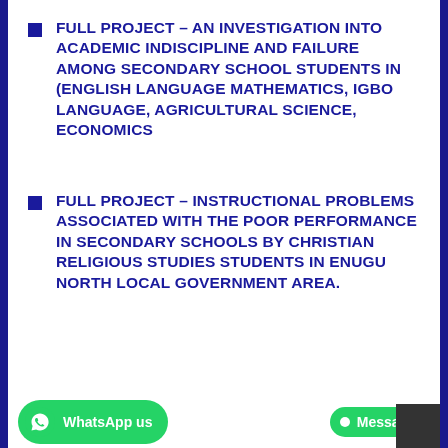FULL PROJECT – AN INVESTIGATION INTO ACADEMIC INDISCIPLINE AND FAILURE AMONG SECONDARY SCHOOL STUDENTS IN (ENGLISH LANGUAGE MATHEMATICS, IGBO LANGUAGE, AGRICULTURAL SCIENCE, ECONOMICS
FULL PROJECT – INSTRUCTIONAL PROBLEMS ASSOCIATED WITH THE POOR PERFORMANCE IN SECONDARY SCHOOLS BY CHRISTIAN RELIGIOUS STUDIES STUDENTS IN ENUGU NORTH LOCAL GOVERNMENT AREA.